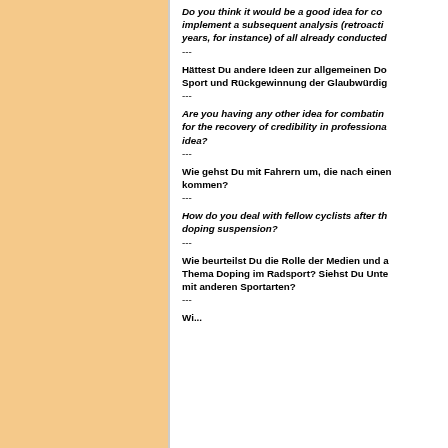Do you think it would be a good idea for co... implement a subsequent analysis (retroacti... years, for instance) of all already conducted...
---
Hättest Du andere Ideen zur allgemeinen Do... Sport und Rückgewinnung der Glaubwürdig...
---
Are you having any other idea for combatin... for the recovery of credibility in professiona... idea?
---
Wie gehst Du mit Fahrern um, die nach einen kommen?
---
How do you deal with fellow cyclists after th... doping suspension?
---
Wie beurteilst Du die Rolle der Medien und ... Thema Doping im Radsport? Siehst Du Unte... mit anderen Sportarten?
---
Wi...